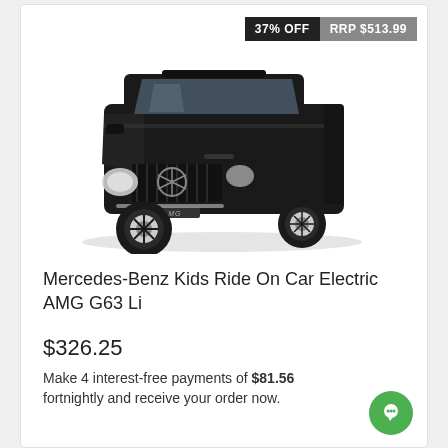[Figure (photo): Black Mercedes-Benz AMG G63 kids electric ride-on toy car, front 3/4 view on white background]
37% OFF
RRP $513.99
Mercedes-Benz Kids Ride On Car Electric AMG G63 Li
$326.25
Make 4 interest-free payments of $81.56 fortnightly and receive your order now.